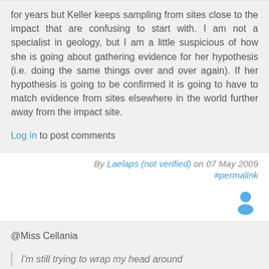for years but Keller keeps sampling from sites close to the impact that are confusing to start with. I am not a specialist in geology, but I am a little suspicious of how she is going about gathering evidence for her hypothesis (i.e. doing the same things over and over again). If her hypothesis is going to be confirmed it is going to have to match evidence from sites elsewhere in the world further away from the impact site.
Log in to post comments
By Laelaps (not verified) on 07 May 2009 #permalink
[Figure (illustration): User avatar icon — blue silhouette of a person]
@Miss Cellania
I'm still trying to wrap my head around